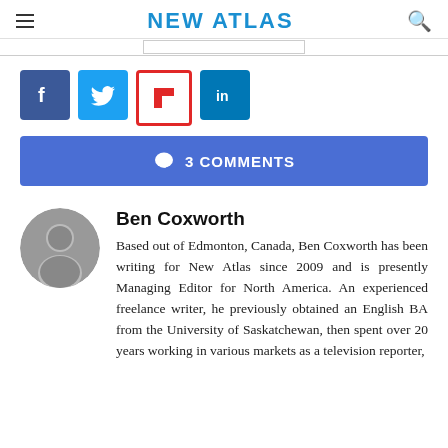NEW ATLAS
[Figure (infographic): Social share buttons: Facebook (blue), Twitter (blue), Flipboard (red/white), LinkedIn (blue)]
3 COMMENTS
Ben Coxworth
[Figure (photo): Black and white circular portrait photo of Ben Coxworth]
Based out of Edmonton, Canada, Ben Coxworth has been writing for New Atlas since 2009 and is presently Managing Editor for North America. An experienced freelance writer, he previously obtained an English BA from the University of Saskatchewan, then spent over 20 years working in various markets as a television reporter,